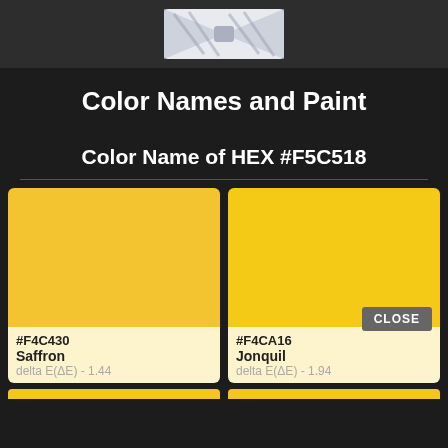[Figure (photo): Bowtie photo at top of page against light background]
Color Names and Paint
Color Name of HEX #F5C518
[Figure (infographic): Two color swatches side by side. Left: #F4C430 Saffron, delta E(ΔE) - 1.44. Right: #F4CA16 Jonquil, delta E(ΔE) - 1.94. A CLOSE button overlay on the right card.]